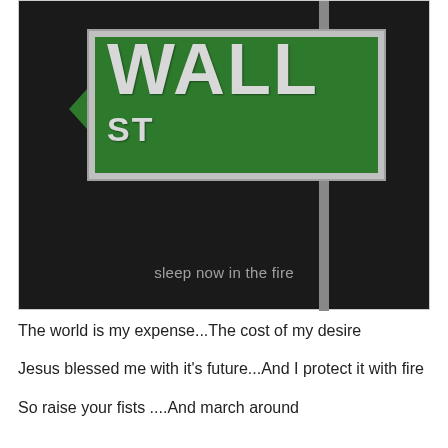[Figure (illustration): A Wall Street street sign (green rectangular sign with white/silver border reading 'WALL ST' in large white letters) against a dark/black background. A vertical pole is on the right side of the sign. Text overlay at the bottom reads 'sleep now in the fire'.]
sleep now in the fire
The world is my expense...The cost of my desire
Jesus blessed me with it's future...And I protect it with fire
So raise your fists ....And march around